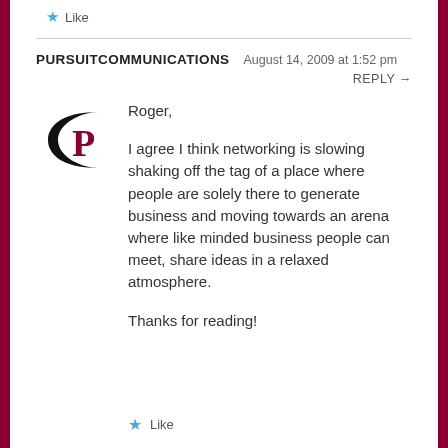Like
PURSUITCOMMUNICATIONS  August 14, 2009 at 1:52 pm
REPLY →
[Figure (logo): Pursuit Communications logo - black crescent C shape with red P letter inside]
Roger,

I agree I think networking is slowing shaking off the tag of a place where people are solely there to generate business and moving towards an arena where like minded business people can meet, share ideas in a relaxed atmosphere.

Thanks for reading!
Like